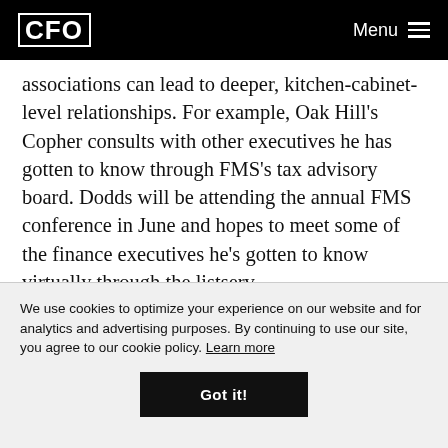CFO | Menu
associations can lead to deeper, kitchen-cabinet-level relationships. For example, Oak Hill's Copher consults with other executives he has gotten to know through FMS's tax advisory board. Dodds will be attending the annual FMS conference in June and hopes to meet some of the finance executives he's gotten to know virtually through the listserv.
We use cookies to optimize your experience on our website and for analytics and advertising purposes. By continuing to use our site, you agree to our cookie policy. Learn more
Got it!